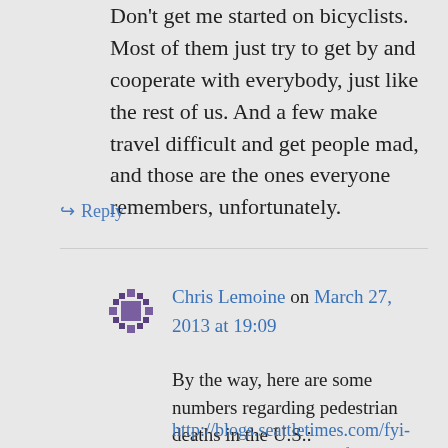Don't get me started on bicyclists. Most of them just try to get by and cooperate with everybody, just like the rest of us. And a few make travel difficult and get people mad, and those are the ones everyone remembers, unfortunately.
↪ Reply
Chris Lemoine on March 27, 2013 at 19:09
By the way, here are some numbers regarding pedestrian deaths in the U.S.:
http://blogs.seattletimes.com/fyi-guy/2013/03/27/how-safe-is-seattle-